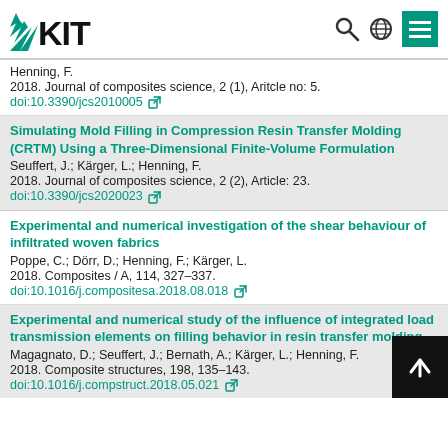KIT header with logo and navigation icons
Henning, F.
2018. Journal of composites science, 2 (1), Aritcle no: 5.
doi:10.3390/jcs2010005
Simulating Mold Filling in Compression Resin Transfer Molding (CRTM) Using a Three-Dimensional Finite-Volume Formulation
Seuffert, J.; Kärger, L.; Henning, F.
2018. Journal of composites science, 2 (2), Article: 23.
doi:10.3390/jcs2020023
Experimental and numerical investigation of the shear behaviour of infiltrated woven fabrics
Poppe, C.; Dörr, D.; Henning, F.; Kärger, L.
2018. Composites / A, 114, 327–337.
doi:10.1016/j.compositesa.2018.08.018
Experimental and numerical study of the influence of integrated load transmission elements on filling behavior in resin transfer molding
Magagnato, D.; Seuffert, J.; Bernath, A.; Kärger, L.; Henning, F.
2018. Composite structures, 198, 135–143.
doi:10.1016/j.compstruct.2018.05.021